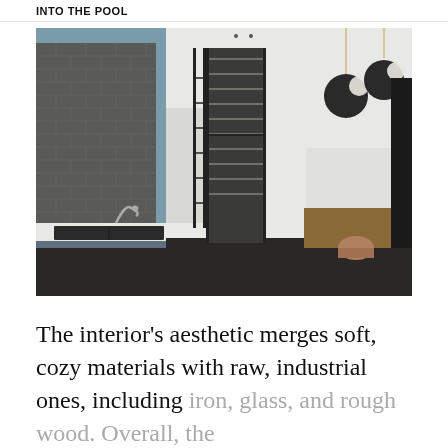INTO THE POOL
[Figure (photo): Interior kitchen photo showing a modern kitchen with grey brick tile backsplash on the left, blue-grey cabinetry, a black double sink with a silver faucet, a white marble island countertop with wooden base and leather bar chairs, dark hardwood floors, a wine refrigerator visible through a black steel-framed glass door in the background, and two globe pendant lights hanging from the ceiling on the right side.]
The interior's aesthetic merges soft, cozy materials with raw, industrial ones, including iron, glass, and rough wood. Overall, the